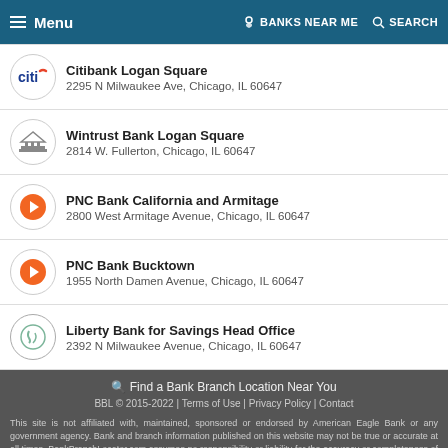Menu | BANKS NEAR ME | SEARCH
Citibank Logan Square
2295 N Milwaukee Ave, Chicago, IL 60647
Wintrust Bank Logan Square
2814 W. Fullerton, Chicago, IL 60647
PNC Bank California and Armitage
2800 West Armitage Avenue, Chicago, IL 60647
PNC Bank Bucktown
1955 North Damen Avenue, Chicago, IL 60647
Liberty Bank for Savings Head Office
2392 N Milwaukee Avenue, Chicago, IL 60647
🔍 Find a Bank Branch Location Near You
BBL © 2015-2022 | Terms of Use | Privacy Policy | Contact
This site is not affiliated with, maintained, sponsored or endorsed by American Eagle Bank or any government agency. Bank and branch information published on this website may not be true or accurate at all times. BankBranchLocator.com assumes no responsibility or liability for the accuracy or completeness of the listings.